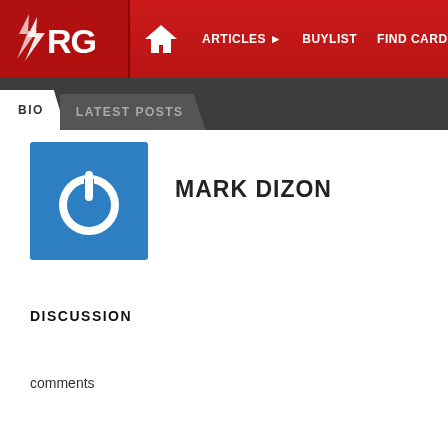ARG | ARTICLES | BUYLIST | FIND CARDS | EVENTS
BIO | LATEST POSTS
[Figure (logo): Blue square profile icon with power button symbol]
MARK DIZON
DISCUSSION
comments